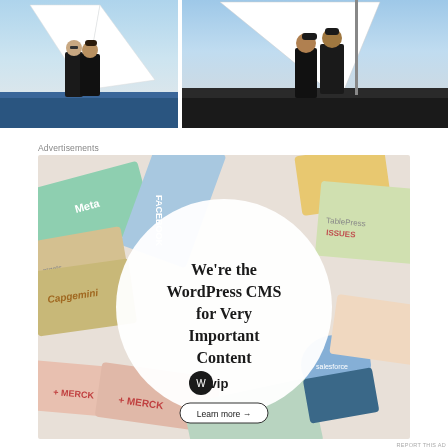[Figure (photo): Two photos side by side of a couple on a sailboat. Left photo shows two people standing, wearing black clothes, on the deck of a sailboat with white sails and blue sky. Right photo shows the same couple closer together, appearing to kiss or embrace, on the same sailboat.]
Advertisements
[Figure (illustration): WordPress VIP advertisement banner. A circular white overlay on a colorful background of overlapping brand cards (Meta, Facebook, Capgemini, Merck, Hachette, Salesforce, TablePress Issues, and others). The circle contains text: 'We're the WordPress CMS for Very Important Content' with the WordPress VIP logo and a 'Learn more →' button.]
REPORT THIS AD